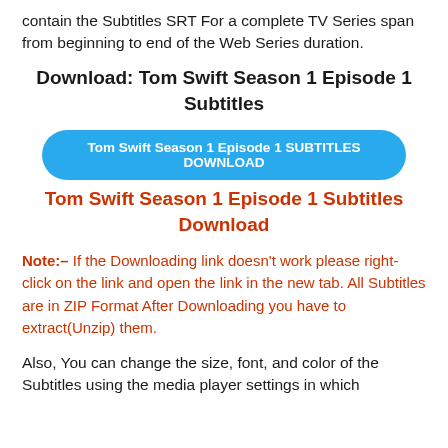contain the Subtitles SRT For a complete TV Series span from beginning to end of the Web Series duration.
Download: Tom Swift Season 1 Episode 1 Subtitles
[Figure (other): Blue rounded rectangle button with white bold text: Tom Swift Season 1 Episode 1 SUBTITLES DOWNLOAD]
Tom Swift Season 1 Episode 1 Subtitles Download
Note:– If the Downloading link doesn't work please right-click on the link and open the link in the new tab. All Subtitles are in ZIP Format After Downloading you have to extract(Unzip) them.
Also, You can change the size, font, and color of the Subtitles using the media player settings in which